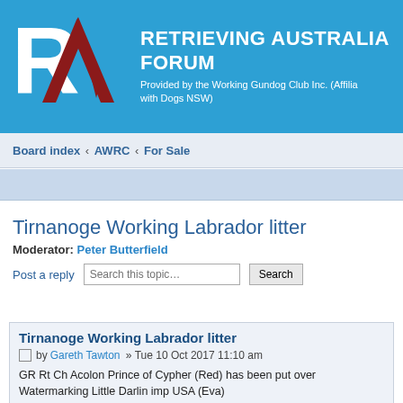[Figure (logo): RA logo with white R and dark red A on blue background]
RETRIEVING AUSTRALIA FORUM
Provided by the Working Gundog Club Inc. (Affilia with Dogs NSW)
Board index ‹ AWRC ‹ For Sale
Tirnanoge Working Labrador litter
Moderator: Peter Butterfield
Post a reply
Tirnanoge Working Labrador litter
by Gareth Tawton » Tue 10 Oct 2017 11:10 am
GR Rt Ch Acolon Prince of Cypher (Red) has been put over Watermarking Little Darlin imp USA (Eva)
Pups due mid November and should be ready for homes in early January